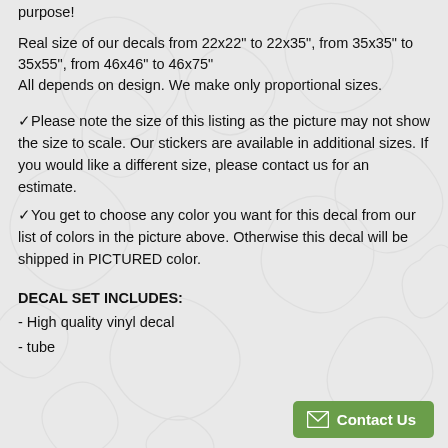purpose!
Real size of our decals from 22x22" to 22x35", from 35x35" to 35x55", from 46x46" to 46x75"
All depends on design. We make only proportional sizes.
✓Please note the size of this listing as the picture may not show the size to scale. Our stickers are available in additional sizes. If you would like a different size, please contact us for an estimate.
✓You get to choose any color you want for this decal from our list of colors in the picture above. Otherwise this decal will be shipped in PICTURED color.
DECAL SET INCLUDES:
- High quality vinyl decal
- tube